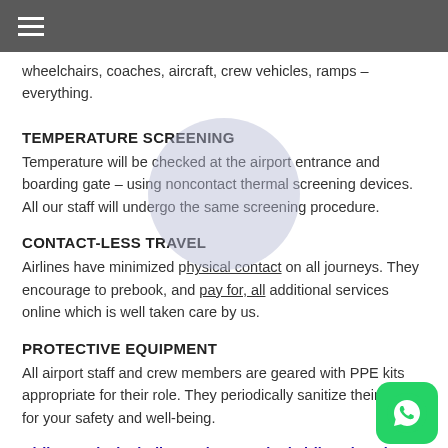☰
wheelchairs, coaches, aircraft, crew vehicles, ramps – everything.
TEMPERATURE SCREENING
Temperature will be checked at the airport entrance and boarding gate – using noncontact thermal screening devices. All our staff will undergo the same screening procedure.
CONTACT-LESS TRAVEL
Airlines have minimized physical contact on all journeys. They encourage to prebook, and pay for, all additional services online which is well taken care by us.
PROTECTIVE EQUIPMENT
All airport staff and crew members are geared with PPE kits appropriate for their role. They periodically sanitize their hands for your safety and well-being.
Airlines spicejet indigo emirates united airlines keeping their